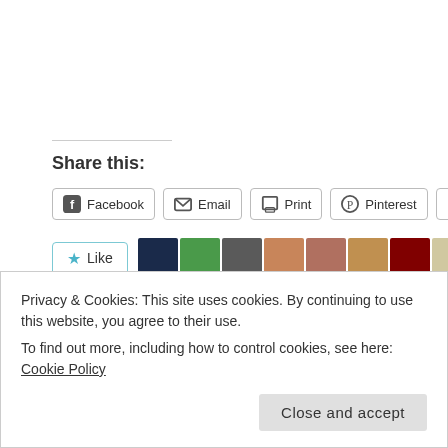Share this:
Facebook  Email  Print  Pinterest  More
[Figure (other): Like button with blue star and 10 blogger avatars]
10 bloggers like this.
Related
December Daily Wreath: RED
December 6, 2013
In December: The Daily Wreath
December 3, 2013
Privacy & Cookies: This site uses cookies. By continuing to use this website, you agree to their use.
To find out more, including how to control cookies, see here: Cookie Policy
Close and accept